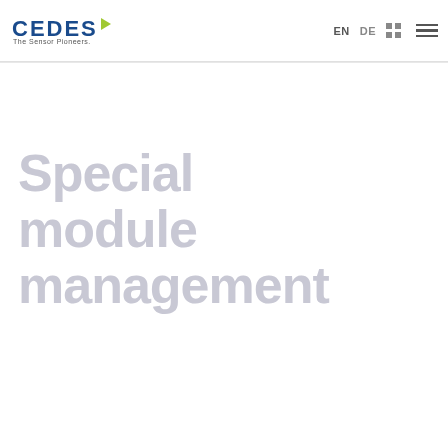[Figure (logo): CEDES logo with blue text and green play triangle, tagline 'The Sensor Pioneers.']
EN  DE  [grid icon]  [hamburger menu]
Special module management